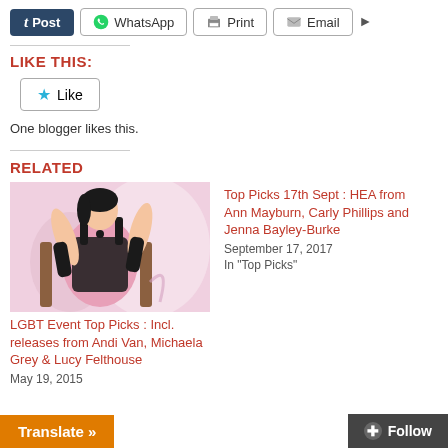[Figure (screenshot): Share buttons row: Post (Tumblr), WhatsApp, Print, Email, and arrow]
LIKE THIS:
[Figure (screenshot): Like button with star icon]
One blogger likes this.
RELATED
[Figure (illustration): Illustrated image of a woman in black lingerie against pink background]
LGBT Event Top Picks : Incl. releases from Andi Van, Michaela Grey & Lucy Felthouse
May 19, 2015
Top Picks 17th Sept : HEA from Ann Mayburn, Carly Phillips and Jenna Bayley-Burke
September 17, 2017
In "Top Picks"
Translate »
Follow